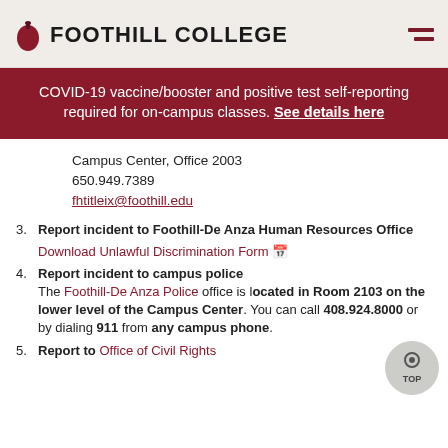FOOTHILL COLLEGE
COVID-19 vaccine/booster and positive test self-reporting required for on-campus classes. See details here
Campus Center, Office 2003
650.949.7389
fhtitleix@foothill.edu
3. Report incident to Foothill-De Anza Human Resources Office
Download Unlawful Discrimination Form
4. Report incident to campus police
The Foothill-De Anza Police office is located in Room 2103 on the lower level of the Campus Center. You can call 408.924.8000 or by dialing 911 from any campus phone.
5. Report to Office of Civil Rights